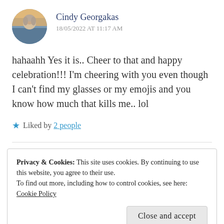[Figure (photo): Circular avatar photo of Cindy Georgakas, a woman with light hair outdoors]
Cindy Georgakas
18/05/2022 AT 11:17 AM
hahaahh Yes it is.. Cheer to that and happy celebration!!! I'm cheering with you even though I can't find my glasses or my emojis and you know how much that kills me.. lol
★ Liked by 2 people
Privacy & Cookies: This site uses cookies. By continuing to use this website, you agree to their use.
To find out more, including how to control cookies, see here:
Cookie Policy
Close and accept